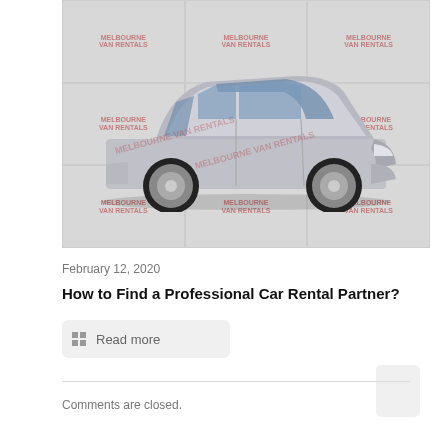[Figure (photo): Silver Toyota Yaris hatchback car shown from the side, displayed against a white/grey watermarked background with 'Melbourne Van Rentals' watermarks in a grid pattern.]
February 12, 2020
How to Find a Professional Car Rental Partner?
Read more
Comments are closed.